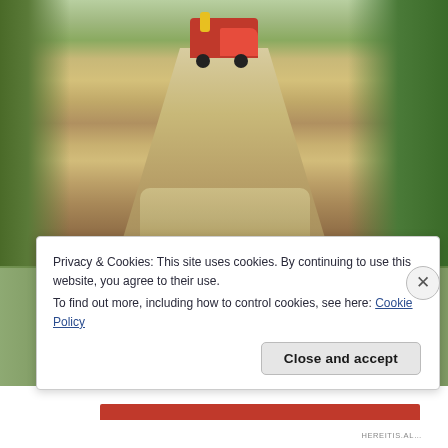[Figure (photo): A dirt road with gravel spread on it, flanked by trees and vegetation. A red truck is visible in the distance on the road.]
All hail to the King!
Privacy & Cookies: This site uses cookies. By continuing to use this website, you agree to their use.
To find out more, including how to control cookies, see here: Cookie Policy
Close and accept